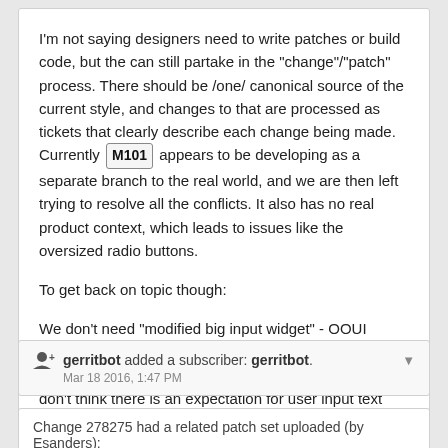I'm not saying designers need to write patches or build code, but the can still partake in the "change"/"patch" process. There should be /one/ canonical source of the current style, and changes to that are processed as tickets that clearly describe each change being made. Currently M101 appears to be developing as a separate branch to the real world, and we are then left trying to resolve all the conflicts. It also has no real product context, which leads to issues like the oversized radio buttons.

To get back on topic though:

We don't need "modified big input widget" - OOUI already uses even padding so just stick with that. Even in the rare case that we left-aligned an action button I don't think there is an expectation for user input text and interface text to align (e.g. in the screenshot above, the label has 0 left padding).
gerritbot added a subscriber: gerritbot. Mar 18 2016, 1:47 PM
Change 278275 had a related patch set uploaded (by Esanders):